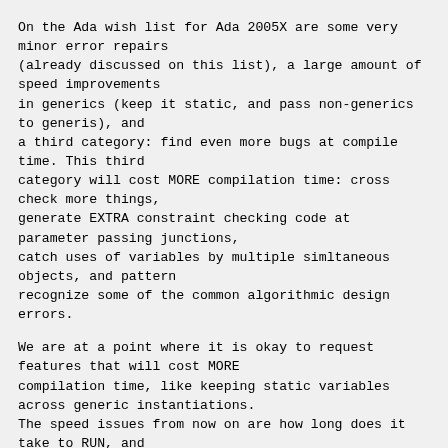On the Ada wish list for Ada 2005X are some very minor error repairs
(already discussed on this list), a large amount of speed improvements
in generics (keep it static, and pass non-generics to generis), and
a third category: find even more bugs at compile time. This third
category will cost MORE compilation time: cross check more things,
generate EXTRA constraint checking code at parameter passing junctions,
catch uses of variables by multiple simltaneous objects, and pattern
recognize some of the common algorithmic design errors.
We are at a point where it is okay to request features that will cost MORE
compilation time, like keeping static variables across generic instantiations.
The speed issues from now on are how long does it take to RUN, and
how long does it take to MAINTAIN it.
Mike Brenner